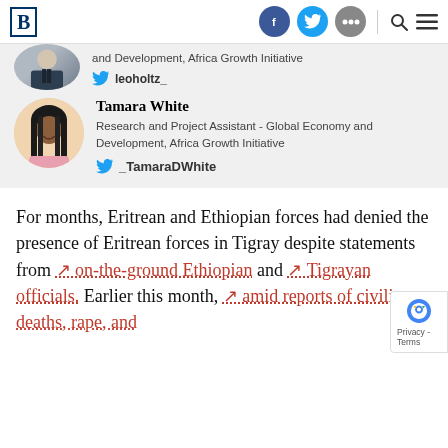Brookings navigation bar with logo, social icons (Facebook, Twitter, more), search and menu
and Development, Africa Growth Initiative
leoholtz_
Tamara White
Research and Project Assistant - Global Economy and Development, Africa Growth Initiative
_TamaraDWhite
For months, Eritrean and Ethiopian forces had denied the presence of Eritrean forces in Tigray despite statements from on-the-ground Ethiopian and Tigrayan officials. Earlier this month, amid reports of civilian deaths, rape, and